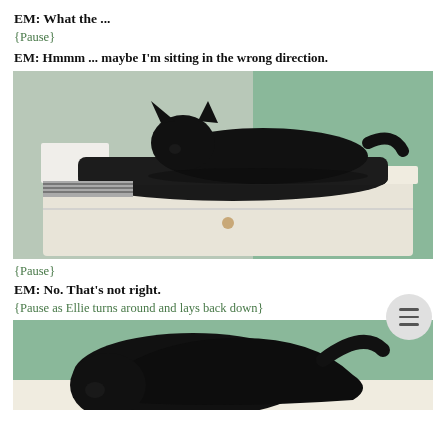EM: What the ...
{Pause}
EM: Hmmm ... maybe I'm sitting in the wrong direction.
[Figure (photo): A black cat sitting on top of a white dresser/nightstand, resting on dark clothing, with a green/teal curtain in the background.]
{Pause}
EM: No. That's not right.
{Pause as Ellie turns around and lays back down}
[Figure (photo): A black cat viewed from behind, turning around on a white dresser, with a teal curtain in the background. Only the back and tail of the cat are visible.]